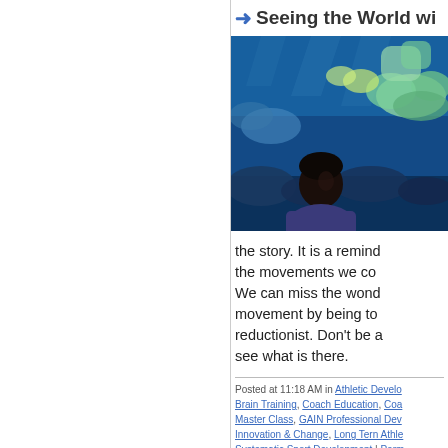Seeing the World wi...
[Figure (photo): Child looking up at a large aquarium tank filled with colorful coral reef and blue water]
the story. It is a remin... the movements we co... We can miss the wond... movement by being to... reductionist. Don't be a... see what is there.
Posted at 11:18 AM in Athletic Develo... Brain Training, Coach Education, Coa... Master Class, GAIN Professional Dev... Innovation & Change, Long Tern Athle... Systematic Sport Development | Perm...